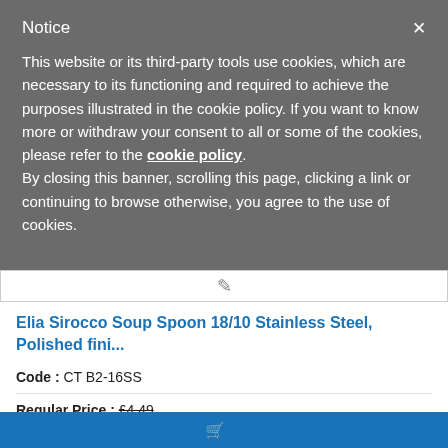Notice
This website or its third-party tools use cookies, which are necessary to its functioning and required to achieve the purposes illustrated in the cookie policy. If you want to know more or withdraw your consent to all or some of the cookies, please refer to the cookie policy.
By closing this banner, scrolling this page, clicking a link or continuing to browse otherwise, you agree to the use of cookies.
Elia Sirocco Soup Spoon 18/10 Stainless Steel, Polished fini...
Code : CT B2-16SS
Regular Price : £4.49
£43.08 for 12 (Ex VAT)
£3.59 per unit